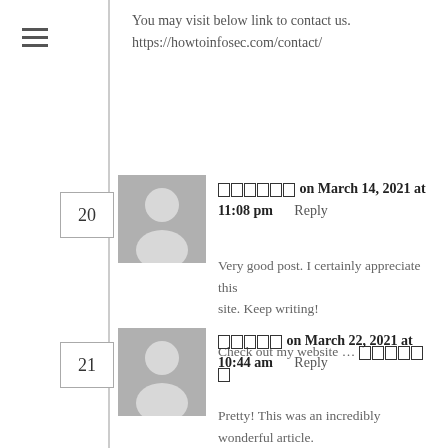You may visit below link to contact us.
https://howtoinfosec.com/contact/
□□□□□□ on March 14, 2021 at 11:08 pm   Reply
Very good post. I certainly appreciate this site. Keep writing!

Check out my website ... □□□□□□
□□□□□ on March 22, 2021 at 10:44 am   Reply
Pretty! This was an incredibly wonderful article.
Thank you for providing this info.